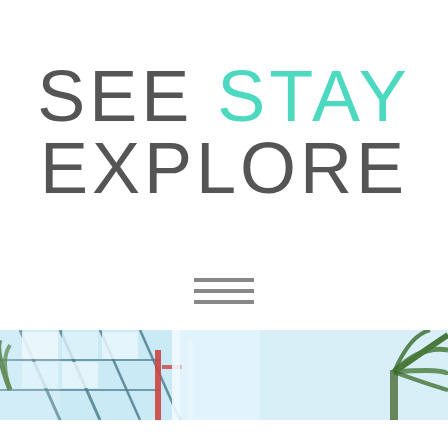SEE STAY EXPLORE
[Figure (other): Hamburger menu icon with three horizontal lines]
[Figure (photo): A wide panoramic photo strip showing the interior of a glass-roofed atrium or conservatory with palm trees and structural steel beams]